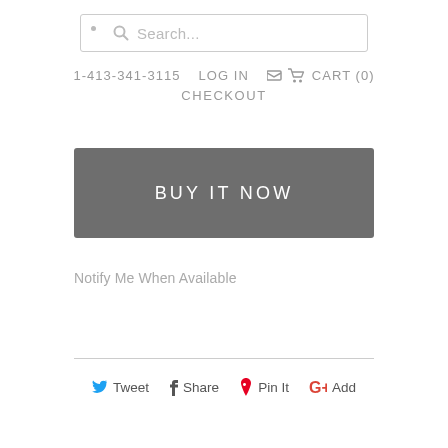[Figure (screenshot): Search bar with magnifying glass icon and placeholder text 'Search...']
1-413-341-3115   LOG IN   🛒 CART (0)
CHECKOUT
[Figure (other): Dark gray 'BUY IT NOW' button]
Notify Me When Available
Tweet   Share   Pin It   Add